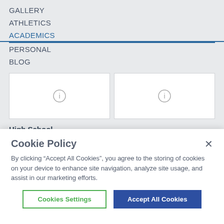GALLERY
ATHLETICS
ACADEMICS
PERSONAL
BLOG
[Figure (other): Two white placeholder image boxes with info icons]
High School
GOV. THOMAS JOHNSON HIGH
Cookie Policy
By clicking “Accept All Cookies”, you agree to the storing of cookies on your device to enhance site navigation, analyze site usage, and assist in our marketing efforts.
Cookies Settings
Accept All Cookies